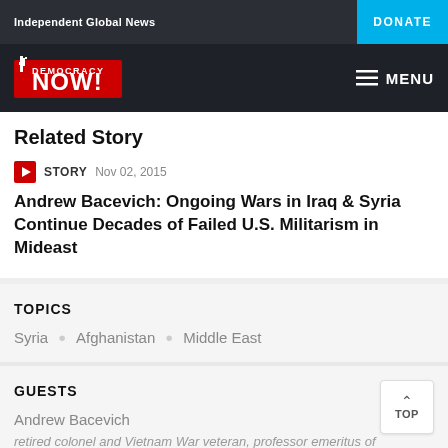Independent Global News | DONATE
[Figure (logo): Democracy Now! logo with Statue of Liberty graphic in red and white on dark background]
Related Story
STORY  Nov 02, 2015
Andrew Bacevich: Ongoing Wars in Iraq & Syria Continue Decades of Failed U.S. Militarism in Mideast
TOPICS
Syria
Afghanistan
Middle East
GUESTS
Andrew Bacevich
retired colonel and Vietnam War veteran, professor emeritus of international relations and history at Boston University